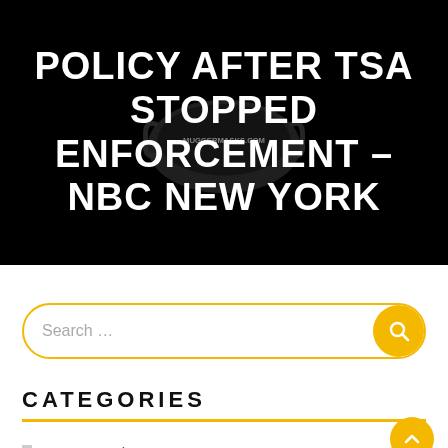[Figure (screenshot): Black background hero image with white bold text headline and a dark face mask product image with 'muggermasks.com' watermark in the center]
POLICY AFTER TSA STOPPED ENFORCEMENT – NBC NEW YORK
Search ...
CATEGORIES
Face Mask News